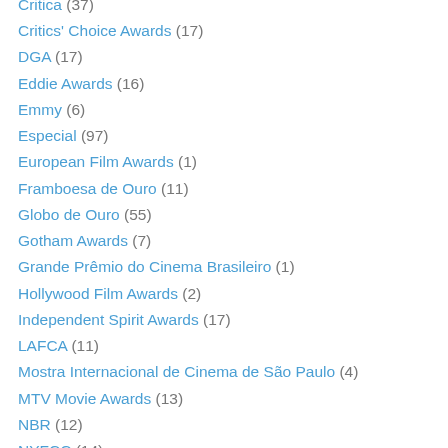Critica (37)
Critics' Choice Awards (17)
DGA (17)
Eddie Awards (16)
Emmy (6)
Especial (97)
European Film Awards (1)
Framboesa de Ouro (11)
Globo de Ouro (55)
Gotham Awards (7)
Grande Prêmio do Cinema Brasileiro (1)
Hollywood Film Awards (2)
Independent Spirit Awards (17)
LAFCA (11)
Mostra Internacional de Cinema de São Paulo (4)
MTV Movie Awards (13)
NBR (12)
NYFCC (14)
Oscar (186)
PGA (18)